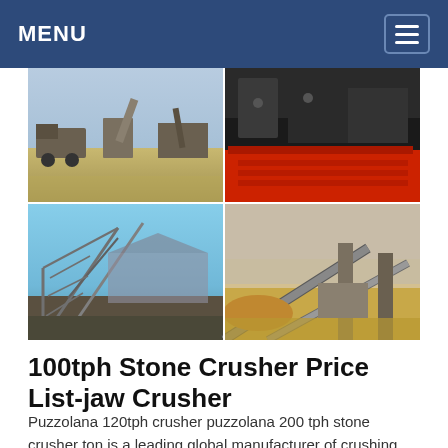MENU
[Figure (photo): Four-panel photo grid showing stone crusher and mining equipment: top-left shows an outdoor crusher plant with trucks and equipment in a sandy field; top-right shows close-up of red and dark machinery parts; bottom-left shows a large metal conveyor/screening structure under blue sky; bottom-right shows conveyor belts and crushing equipment at a mining site.]
100tph Stone Crusher Price List- jaw Crusher
Puzzolana 120tph crusher puzzolana 200 tph stone crusher ton is a leading global manufacturer of crushing and milling equipment 100120 tph stone crusher price in india 100 tph jaw crusher unit of capacity from 100 tph to